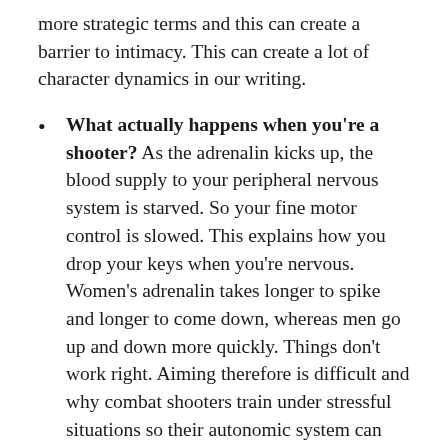more strategic terms and this can create a barrier to intimacy. This can create a lot of character dynamics in our writing.
What actually happens when you're a shooter? As the adrenalin kicks up, the blood supply to your peripheral nervous system is starved. So your fine motor control is slowed. This explains how you drop your keys when you're nervous. Women's adrenalin takes longer to spike and longer to come down, whereas men go up and down more quickly. Things don't work right. Aiming therefore is difficult and why combat shooters train under stressful situations so their autonomic system can